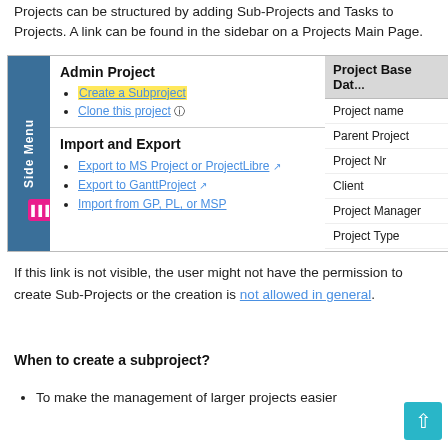Projects can be structured by adding Sub-Projects and Tasks to Projects. A link can be found in the sidebar on a Projects Main Page.
[Figure (screenshot): Screenshot of a project management application sidebar showing Admin Project section with 'Create a Subproject' (highlighted yellow) and 'Clone this project' links, an Import and Export section with links to export to MS Project or ProjectLibre, GanttProject, and import from GP, PL, or MSP. On the right, a Project Base Data panel listing: Project name, Parent Project, Project Nr, Client, Project Manager, Project Type, Project Status.]
If this link is not visible, the user might not have the permission to create Sub-Projects or the creation is not allowed in general.
When to create a subproject?
To make the management of larger projects easier